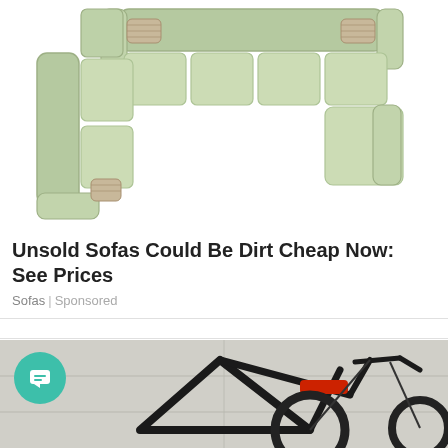[Figure (photo): Top-down view of a large L-shaped sectional sofa in light green/sage color with decorative knit throw pillows at the corners, viewed from above against a white background.]
Unsold Sofas Could Be Dirt Cheap Now: See Prices
Sofas | Sponsored
[Figure (photo): Partial photo of a dark-colored electric bicycle/e-bike leaning against a concrete wall, showing the frame, handlebars, and rear section with a red accent piece.]